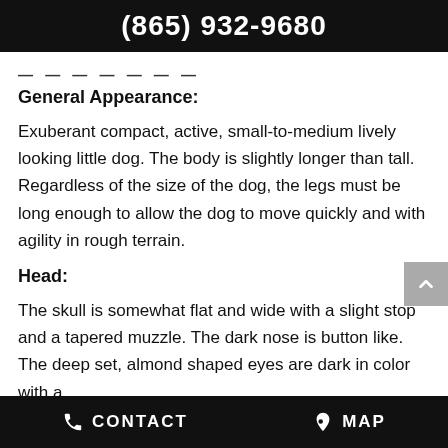(865) 932-9680
— — — — — — —
General Appearance:
Exuberant compact, active, small-to-medium lively looking little dog. The body is slightly longer than tall. Regardless of the size of the dog, the legs must be long enough to allow the dog to move quickly and with agility in rough terrain.
Head:
The skull is somewhat flat and wide with a slight stop and a tapered muzzle. The dark nose is button like. The deep set, almond shaped eyes are dark in color with a
CONTACT   MAP